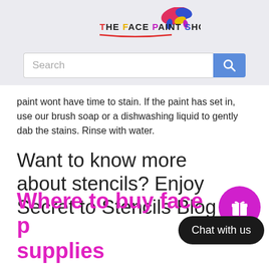[Figure (logo): The Face Paint Shop logo with colorful paint splash and text]
[Figure (screenshot): Search bar with magnifying glass icon button in blue]
paint wont have time to stain. If the paint has set in, use our brush soap or a dishwashing liquid to gently dab the stains. Rinse with water.
Want to know more about stencils? Enjoy Secret to Stencils Blog
Where to buy face p... supplies